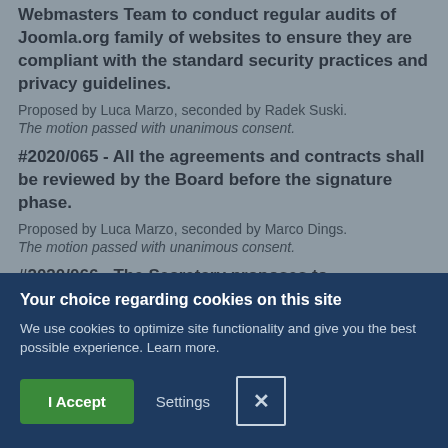Webmasters Team to conduct regular audits of Joomla.org family of websites to ensure they are compliant with the standard security practices and privacy guidelines.
Proposed by Luca Marzo, seconded by Radek Suski.
The motion passed with unanimous consent.
#2020/065 - All the agreements and contracts shall be reviewed by the Board before the signature phase.
Proposed by Luca Marzo, seconded by Marco Dings.
The motion passed with unanimous consent.
#2020/066 - The Secretary proposes to
[Figure (screenshot): Cookie consent banner with dark navy background. Title: 'Your choice regarding cookies on this site'. Body text: 'We use cookies to optimize site functionality and give you the best possible experience. Learn more.' Buttons: 'I Accept' (green), 'Settings' (text), and an X close button.]